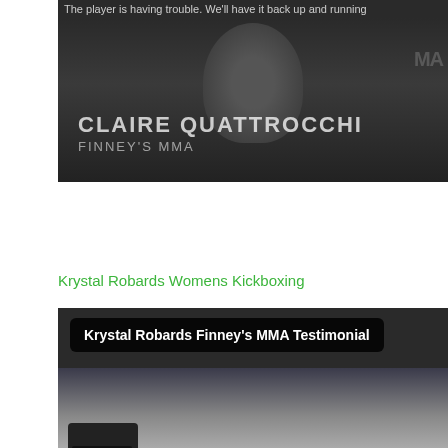[Figure (screenshot): Video player showing Claire Quattrocchi from Finney's MMA, with an error message 'The player is having trouble. We'll have it back up and running' at the top. Name overlay shows 'CLAIRE QUATTROCCHI' and 'FINNEY'S MMA'.]
Krystal Robards Womens Kickboxing
[Figure (screenshot): Video thumbnail for 'Krystal Robards Finney's MMA Testimonial' showing people in a gym setting.]